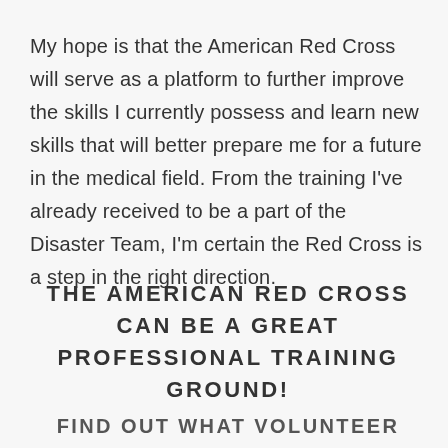My hope is that the American Red Cross will serve as a platform to further improve the skills I currently possess and learn new skills that will better prepare me for a future in the medical field. From the training I've already received to be a part of the Disaster Team, I'm certain the Red Cross is a step in the right direction.
THE AMERICAN RED CROSS CAN BE A GREAT PROFESSIONAL TRAINING GROUND!
FIND OUT WHAT VOLUNTEER